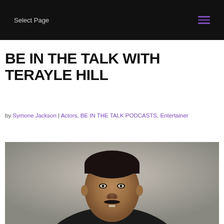Select Page
BE IN THE TALK WITH TERAYLE HILL
by Symone Jackson | Actors, BE IN THE TALK PODCASTS, Entertainer
[Figure (photo): Close-up headshot of Terayle Hill, a young man wearing a black jacket, with a neutral facial expression, photographed against a light grey background.]